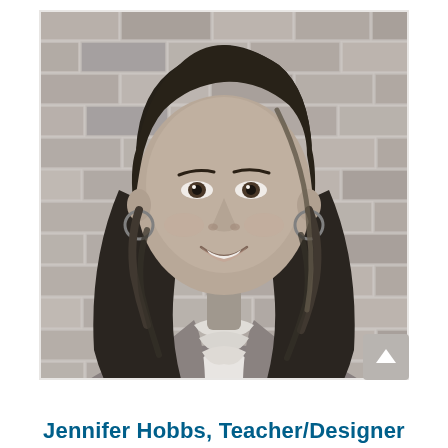[Figure (photo): Black and white professional headshot of a woman with long dark wavy hair, wearing a blazer and ruffled blouse, smiling, posed in front of a brick wall background.]
Jennifer Hobbs, Teacher/Designer